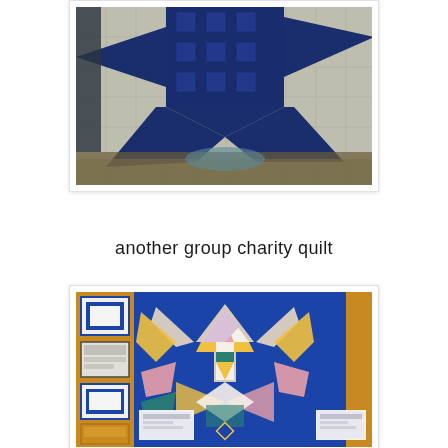[Figure (photo): Close-up photo of a blue and grey/beige quilt with a large star pattern made from dark navy blue fabric with plaid/checked texture on a light grey background. The quilt is hung or displayed vertically.]
another group charity quilt
[Figure (photo): Photo of a colorful geometric quilt displayed on a blue background board. The quilt features abstract shapes in blue, gold/yellow, pink, white, grey, and teal/green forming a large complex pattern. On the left side are several framed certificates or award plaques on a gold/tan background. A certificate is also visible on the right side.]